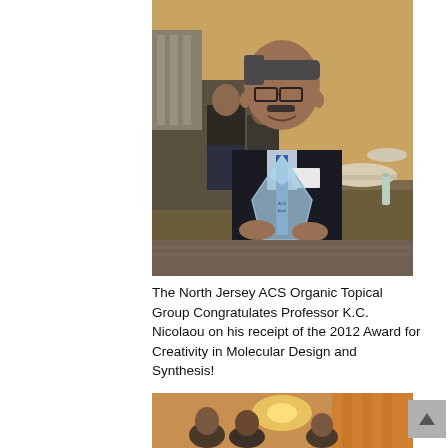[Figure (photo): A man wearing glasses, a suit, and a blue striped tie holds up a crystal/glass award trophy in a banquet hall setting. Other people and round tables with white tablecloths are visible in the background.]
The North Jersey ACS Organic Topical Group Congratulates Professor K.C. Nicolaou on his receipt of the 2012 Award for Creativity in Molecular Design and Synthesis!
[Figure (photo): A group photo of several people at an event, partially visible at the bottom of the page.]